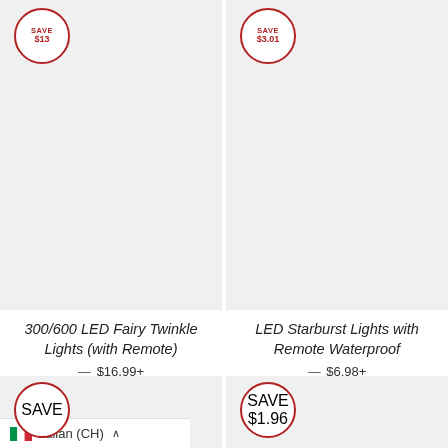[Figure (photo): Product image area for 300/600 LED Fairy Twinkle Lights with Save $13 badge, light gray background]
[Figure (photo): Product image area for LED Starburst Lights with Remote Waterproof with Save $3.01 badge, light gray background]
300/600 LED Fairy Twinkle Lights (with Remote)
— $16.99+
LED Starburst Lights with Remote Waterproof
— $6.98+
[Figure (photo): Bottom left product image area partially visible with SAVE badge (partially cut)]
[Figure (photo): Bottom right product image area partially visible with SAVE $1.96 badge]
Italian (CH)